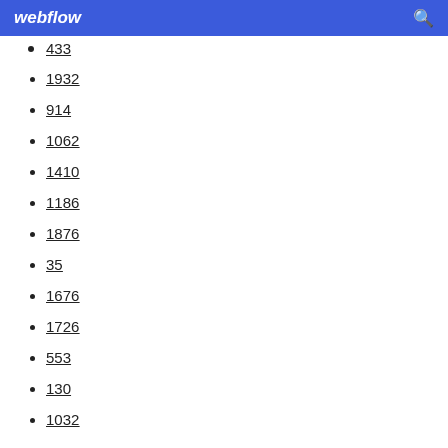webflow
433
1932
914
1062
1410
1186
1876
35
1676
1726
553
130
1032